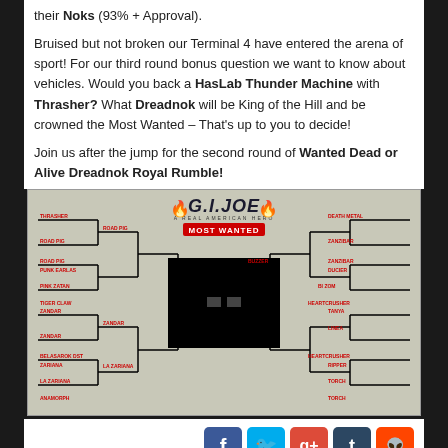their Noks (93% + Approval).
Bruised but not broken our Terminal 4 have entered the arena of sport! For our third round bonus question we want to know about vehicles. Would you back a HasLab Thunder Machine with Thrasher? What Dreadnok will be King of the Hill and be crowned the Most Wanted – That's up to you to decide!
Join us after the jump for the second round of Wanted Dead or Alive Dreadnok Royal Rumble!
[Figure (infographic): GI Joe Most Wanted tournament bracket showing a double-elimination style bracket with character images on left and right sides, GI Joe logo and 'MOST WANTED' banner in center, and a black square in the middle representing the final match area.]
› Views: 3825 › Tags: Featured     Discuss on the HissTank Forums
« Previous Page    Next Page »